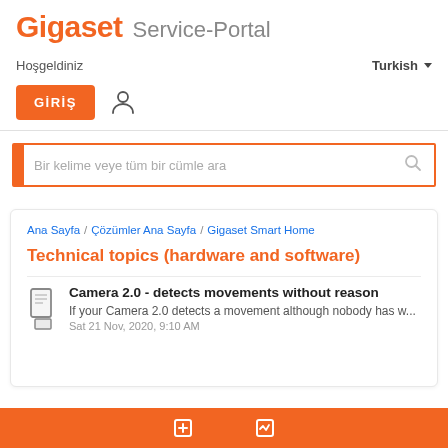Gigaset Service-Portal
Hoşgeldiniz
Turkish
GİRİŞ
Bir kelime veye tüm bir cümle ara
Ana Sayfa / Çözümler Ana Sayfa / Gigaset Smart Home
Technical topics (hardware and software)
Camera 2.0 - detects movements without reason
If your Camera 2.0 detects a movement although nobody has w...